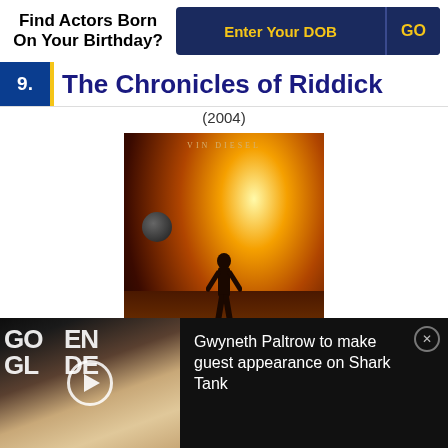Find Actors Born On Your Birthday?
9. The Chronicles of Riddick (2004)
[Figure (photo): Movie poster for The Chronicles of Riddick (2004) starring Vin Diesel. Shows a figure silhouetted against a fiery orange sky with a planet in the background.]
[Figure (photo): Ad banner showing Gwyneth Paltrow at the Golden Globes with text: Gwyneth Paltrow to make guest appearance on Shark Tank]